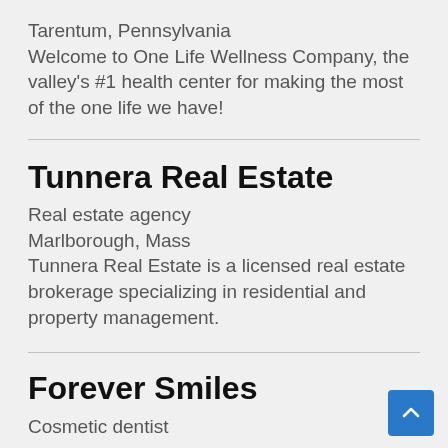Tarentum, Pennsylvania
Welcome to One Life Wellness Company, the valley's #1 health center for making the most of the one life we have!
Tunnera Real Estate
Real estate agency
Marlborough, Mass
Tunnera Real Estate is a licensed real estate brokerage specializing in residential and property management.
Forever Smiles
Cosmetic dentist